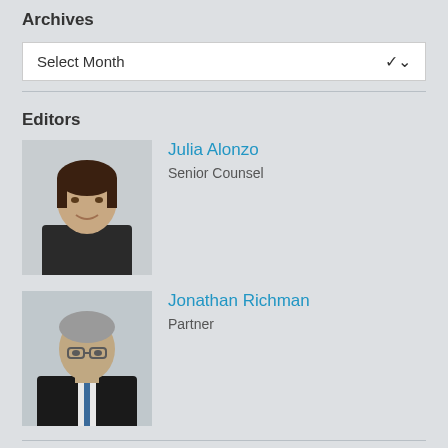Archives
Select Month
Editors
[Figure (photo): Headshot of Julia Alonzo, woman with dark hair smiling, wearing dark jacket]
Julia Alonzo
Senior Counsel
[Figure (photo): Headshot of Jonathan Richman, older man with glasses and grey hair, wearing suit]
Jonathan Richman
Partner
Authors
View Blog Authors